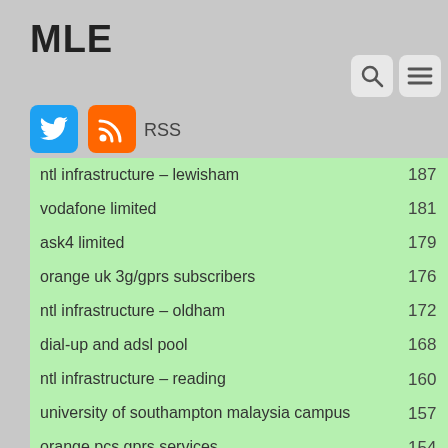MLE RSS
|  |  |
| --- | --- |
| ntl infrastructure – lewisham | 187 |
| vodafone limited | 181 |
| ask4 limited | 179 |
| orange uk 3g/gprs subscribers | 176 |
| ntl infrastructure – oldham | 172 |
| dial-up and adsl pool | 168 |
| ntl infrastructure – reading | 160 |
| university of southampton malaysia campus | 157 |
| orange pcs gprs services | 154 |
| h3guk subscribe |  |